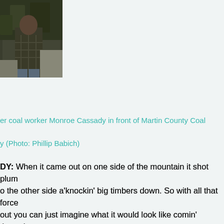[Figure (photo): A man (Monroe Cassady) standing in front of Martin County Coal, wearing a plaid jacket]
er coal worker Monroe Cassady in front of Martin County Coal
y (Photo: Phillip Babich)
DY: When it came out on one side of the mountain it shot plum o the other side a'knockin' big timbers down. So with all that force out you can just imagine what it would look like comin' through othin' but black, you know.
ARD: It smelled terrible. It smelled like chemicals, like lic. You know, nothing smells worse than hydraulic fluid.
H: Janice Maynard lives on Coldwater Creek. The smells e day of the accident are still fresh in her mind. So are some cenes. One memory in particular is of five turtles lying on top slurry.
ARD: When I saw all the big turtles on the surface there, you